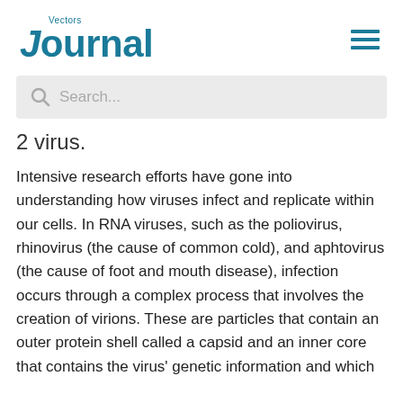Vectors Journal
2 virus.
Intensive research efforts have gone into understanding how viruses infect and replicate within our cells. In RNA viruses, such as the poliovirus, rhinovirus (the cause of common cold), and aphtovirus (the cause of foot and mouth disease), infection occurs through a complex process that involves the creation of virions. These are particles that contain an outer protein shell called a capsid and an inner core that contains the virus' genetic information and which